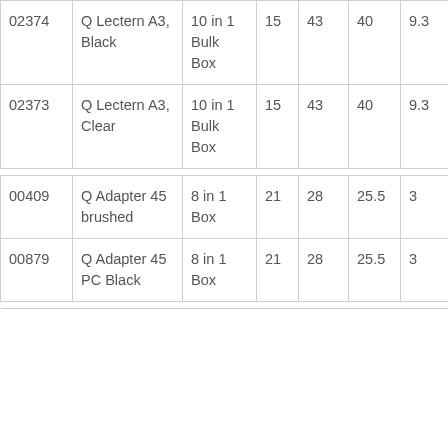| 02374 | Q Lectern A3, Black | 10 in 1 Bulk Box | 15 | 43 | 40 | 9.3 |
| 02373 | Q Lectern A3, Clear | 10 in 1 Bulk Box | 15 | 43 | 40 | 9.3 |
| 00409 | Q Adapter 45 brushed | 8 in 1 Box | 21 | 28 | 25.5 | 3 |
| 00879 | Q Adapter 45 PC Black | 8 in 1 Box | 21 | 28 | 25.5 | 3 |